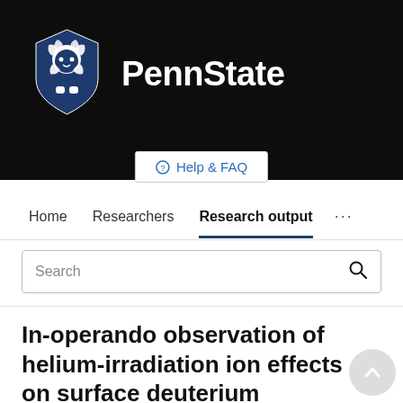[Figure (logo): Penn State University logo with lion shield and PennState wordmark on dark background]
Help & FAQ
Home   Researchers   Research output   ...
Search
In-operando observation of helium-irradiation ion effects on surface deuterium retention through LiOH bonding in lithium films on